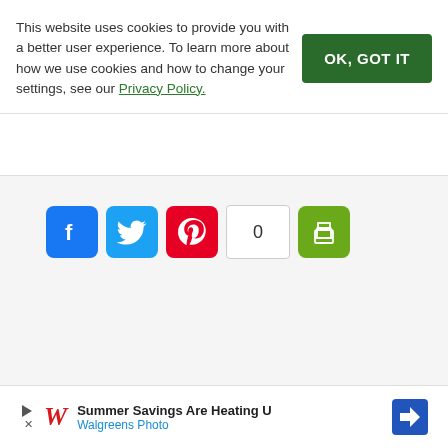This website uses cookies to provide you with a better user experience. To learn more about how we use cookies and how to change your settings, see our Privacy Policy.
[Figure (other): Social sharing buttons: Facebook (blue), Twitter (light blue), Pinterest (red), share count showing 0 (white with border), and print button (green)]
[Figure (other): Walgreens Photo advertisement banner: 'Summer Savings Are Heating U' with Walgreens logo and blue diamond arrow icon]